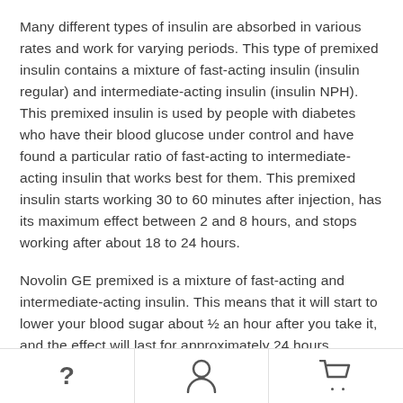Many different types of insulin are absorbed in various rates and work for varying periods. This type of premixed insulin contains a mixture of fast-acting insulin (insulin regular) and intermediate-acting insulin (insulin NPH). This premixed insulin is used by people with diabetes who have their blood glucose under control and have found a particular ratio of fast-acting to intermediate-acting insulin that works best for them. This premixed insulin starts working 30 to 60 minutes after injection, has its maximum effect between 2 and 8 hours, and stops working after about 18 to 24 hours.
Novolin GE premixed is a mixture of fast-acting and intermediate-acting insulin. This means that it will start to lower your blood sugar about ½ an hour after you take it, and the effect will last for approximately 24 hours.
This medication may be available under multiple brand names...
? [user icon] [cart icon]